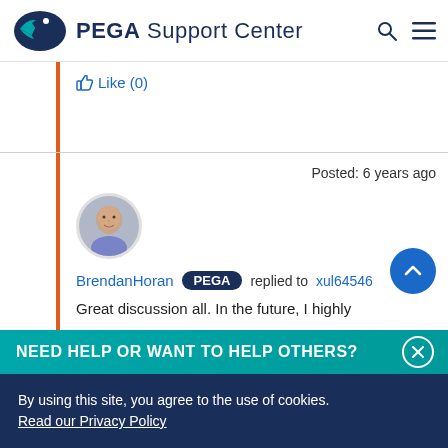PEGA Support Center
Like (0)
Posted: 6 years ago
[Figure (photo): Avatar photo of BrendanHoran, a bald man in a blue shirt]
BrendanHoran PEGA replied to xul64546
Great discussion all. In the future, I highly
NEED HELP OR WANT TO HELP OTHERS?
By using this site, you agree to the use of cookies.
Read our Privacy Policy
Accept and continue
About cookies